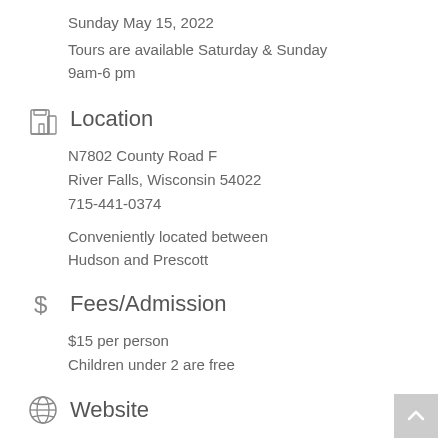Sunday May 15, 2022
Tours are available Saturday & Sunday
9am-6 pm
Location
N7802 County Road F
River Falls, Wisconsin 54022
715-441-0374
Conveniently located between Hudson and Prescott
Fees/Admission
$15 per person
Children under 2 are free
Website